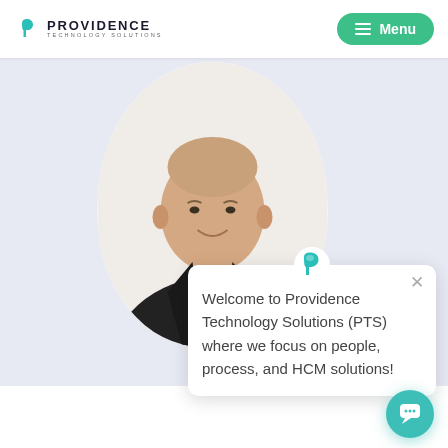[Figure (logo): Providence Technology Solutions logo with teal P icon and company name]
[Figure (other): Green rounded rectangle menu button with hamburger icon and Menu text]
[Figure (photo): Headshot of a man in a black suit and teal tie on a white oval background]
Welcome to Providence Technology Solutions (PTS) where we focus on people, process, and HCM solutions!
[Figure (other): Teal chat bubble icon button at bottom right]